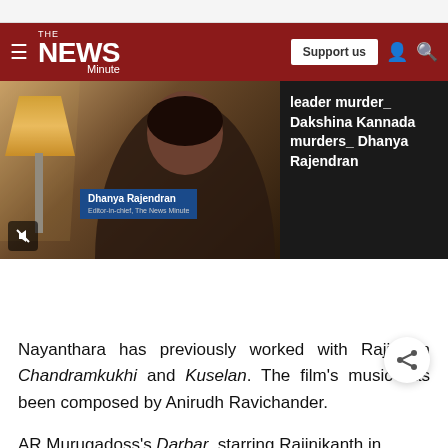The NEWS Minute
[Figure (screenshot): Video thumbnail showing Dhanya Rajendran, Editor-in-chief of The News Minute, with a lamp in background]
leader murder_ Dakshina Kannada murders_ Dhanya Rajendran
Nayanthara has previously worked with Rajini in Chandramkukhi and Kuselan. The film's music has been composed by Anirudh Ravichander.
AR Murugadoss's Darbar, starring Rajinikanth in